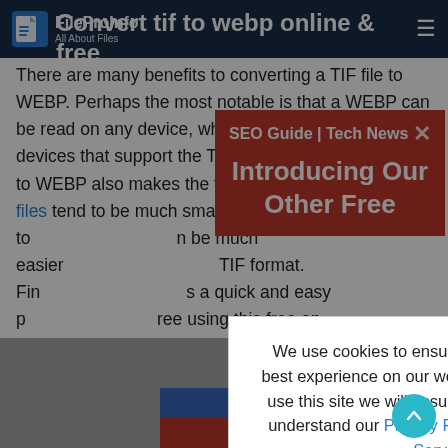FileProInfo All About Files
Convert tif to webp online & free
There are many benefits to converting a TIF file to WEBP. Perhaps the most notable is that a WEBP can be read on any device, whereas a TIF is limited to devices that support the TIF format. Converting a TIF to WEBP also makes the file smaller and as WEBP files tend to be much smaller. Additionally, if you want to share your files, it can be much easier to share a WEBP file than a TIF format. Finally, converting a TIF to WEBP is a quick and easy process that can be completed for free using this free online converter.
[Figure (infographic): Red advertisement banner overlay reading 'SEO Guide | Tech News' and 'Introducing Our Other Free' with close X button]
We use cookies to ensure that we give you the best experience on our website. If you continue to use this site we will assume that you accept and understand our Privacy Policy, and our Terms of Service.
I Agree
[Figure (screenshot): Bottom area with gray background, blue and red bars, and scroll-to-top button]